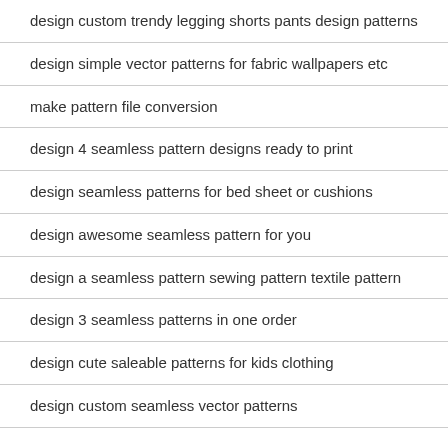design custom trendy legging shorts pants design patterns
design simple vector patterns for fabric wallpapers etc
make pattern file conversion
design 4 seamless pattern designs ready to print
design seamless patterns for bed sheet or cushions
design awesome seamless pattern for you
design a seamless pattern sewing pattern textile pattern
design 3 seamless patterns in one order
design cute saleable patterns for kids clothing
design custom seamless vector patterns